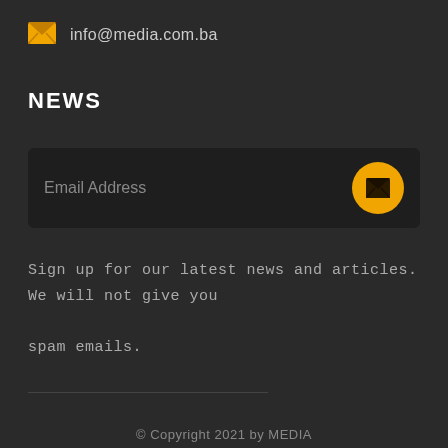info@media.com.ba
NEWS
[Figure (other): Email address input field with orange send button]
Sign up for our latest news and articles. We will not give you spam emails.
[Figure (other): INFORMATION tooltip bubble with green chat button]
© Copyright 2021 by MEDIA